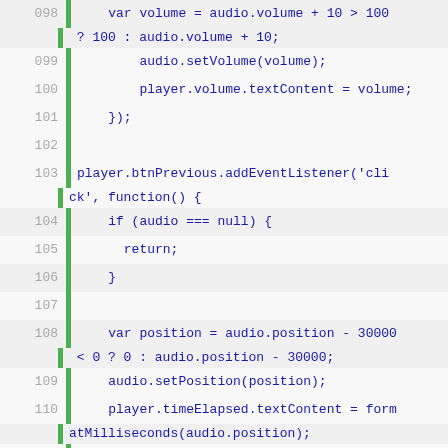Code listing showing JavaScript event listener code, lines 098-120
[Figure (screenshot): JavaScript source code snippet showing audio player event listeners for volume up, previous button, and next button functionality, lines 098-120]